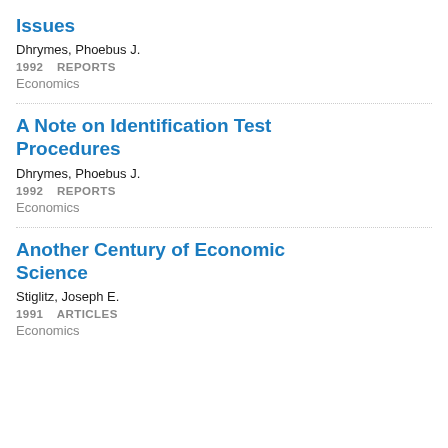Issues
Dhrymes, Phoebus J.
1992   REPORTS
Economics
A Note on Identification Test Procedures
Dhrymes, Phoebus J.
1992   REPORTS
Economics
Another Century of Economic Science
Stiglitz, Joseph E.
1991   ARTICLES
Economics